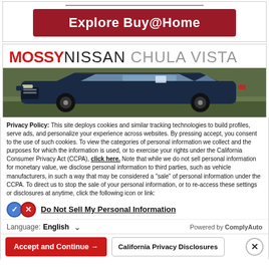[Figure (screenshot): Red 'Explore Buy@Home' button with horizontal divider above it on white background]
[Figure (logo): Mossy Nissan Chula Vista dealership logo with photo of blue SUV on green field]
Privacy Policy: This site deploys cookies and similar tracking technologies to build profiles, serve ads, and personalize your experience across websites. By pressing accept, you consent to the use of such cookies. To view the categories of personal information we collect and the purposes for which the information is used, or to exercise your rights under the California Consumer Privacy Act (CCPA), click here. Note that while we do not sell personal information for monetary value, we disclose personal information to third parties, such as vehicle manufacturers, in such a way that may be considered a "sale" of personal information under the CCPA. To direct us to stop the sale of your personal information, or to re-access these settings or disclosures at anytime, click the following icon or link:
Do Not Sell My Personal Information
Language: English
Powered by ComplyAuto
Accept and Continue →
California Privacy Disclosures